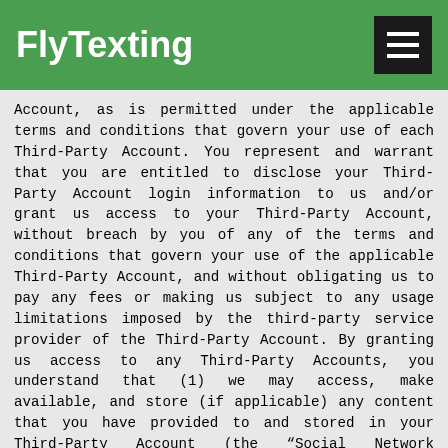FlyTexting
Account, as is permitted under the applicable terms and conditions that govern your use of each Third-Party Account. You represent and warrant that you are entitled to disclose your Third-Party Account login information to us and/or grant us access to your Third-Party Account, without breach by you of any of the terms and conditions that govern your use of the applicable Third-Party Account, and without obligating us to pay any fees or making us subject to any usage limitations imposed by the third-party service provider of the Third-Party Account. By granting us access to any Third-Party Accounts, you understand that (1) we may access, make available, and store (if applicable) any content that you have provided to and stored in your Third-Party Account (the “Social Network Content”) so that it is available on and through the Site via your account, including without limitation any friend lists and (2) we may submit to and receive from your Third-Party Account additional information to the extent you are notified when you link your account with the Third-Party Account. Depending on the Third-Party Accounts you choose and subject to the privacy settings that you have set in such Third-Party Accounts, personally identifiable information that you post to your Third-Party Accounts may be available on and through your account on the Site. Please note that if a Third-Party Account or associated service becomes unavailable or our access to such Third-Party Account is terminated by the